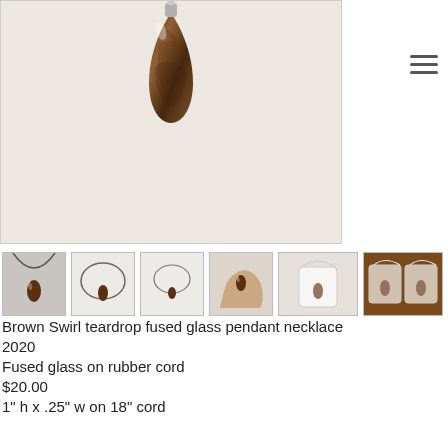[Figure (photo): Main product photo: a brown swirl teardrop fused glass pendant on a light beige/cream background. The pendant is a glossy teardrop shape with dark brown swirling patterns and a silver bail at the top.]
[Figure (photo): Row of six product thumbnail images: (1) pendant worn as necklace on neck, (2) pendant on cord laid flat overhead view, (3) pendant on cord from further distance, (4) pendant held in a hand for scale, (5) pendant in a small white organza gift bag on dark wood, (6) two pendants in organza bags on dark wood]
Brown Swirl teardrop fused glass pendant necklace
2020
Fused glass on rubber cord
$20.00
1" h x .25" w on 18" cord